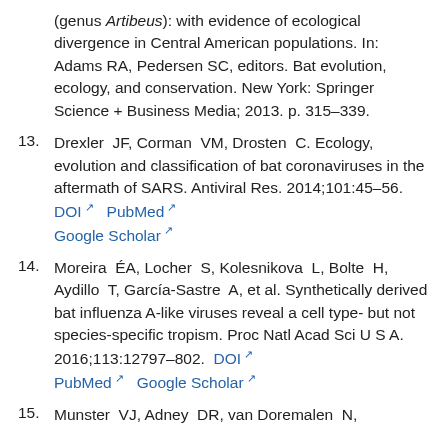(genus Artibeus): with evidence of ecological divergence in Central American populations. In: Adams RA, Pedersen SC, editors. Bat evolution, ecology, and conservation. New York: Springer Science + Business Media; 2013. p. 315–339.
13. Drexler JF, Corman VM, Drosten C. Ecology, evolution and classification of bat coronaviruses in the aftermath of SARS. Antiviral Res. 2014;101:45–56. DOI PubMed Google Scholar
14. Moreira ÉA, Locher S, Kolesnikova L, Bolte H, Aydillo T, García-Sastre A, et al. Synthetically derived bat influenza A-like viruses reveal a cell type- but not species-specific tropism. Proc Natl Acad Sci U S A. 2016;113:12797–802. DOI PubMed Google Scholar
15. Munster VJ, Adney DR, van Doremalen N, ...